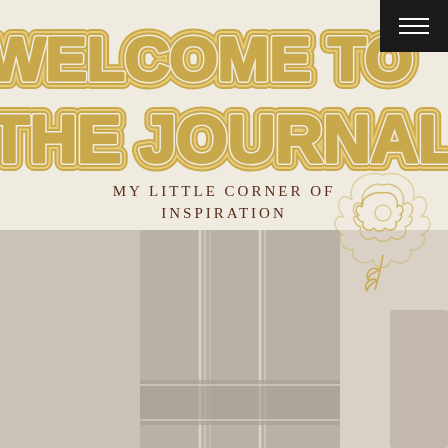WELCOME TO THE JOURNAL
MY LITTLE CORNER OF INSPIRATION
[Figure (photo): Background photo showing a denim jacket/skirt with stitching detail, muted beige/grey tones]
[Figure (illustration): Gold outline rose/flower illustration overlaid on the right side of the page]